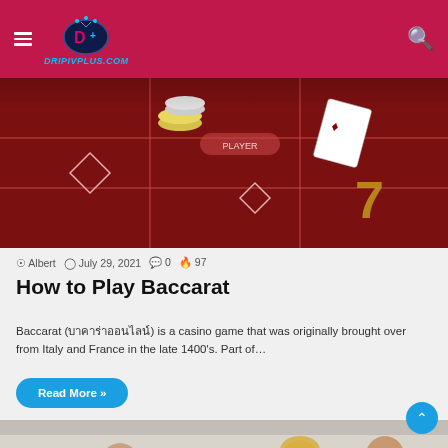DRIPIVPLUS.COM
[Figure (photo): Baccarat casino table with chips and playing cards on red felt]
Albert  July 29, 2021  0  97
How to Play Baccarat
Baccarat (บาคาร่าออนไลน์) is a casino game that was originally brought over from Italy and France in the late 1400's. Part of…
Read More »
[Figure (photo): Group of people playing a card game together at a table]